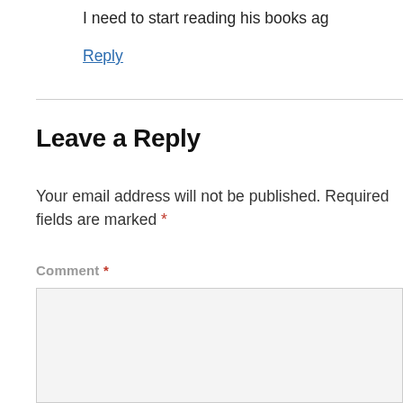I need to start reading his books ag
Reply
Leave a Reply
Your email address will not be published. Required fields are marked *
Comment *